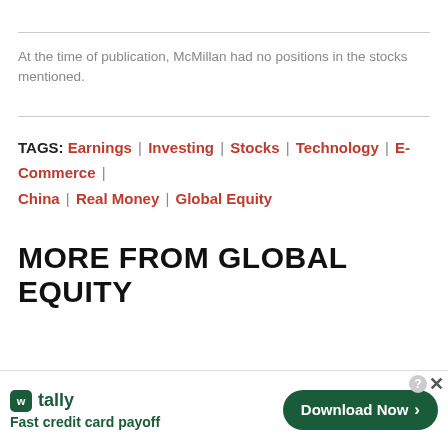At the time of publication, McMillan had no positions in the stocks mentioned.
TAGS: Earnings | Investing | Stocks | Technology | E-Commerce | China | Real Money | Global Equity
MORE FROM GLOBAL EQUITY
[Figure (infographic): Advertisement banner for Tally app: logo, tagline 'Fast credit card payoff', and a green 'Download Now' button with arrow. Close/X button in top-right corner.]